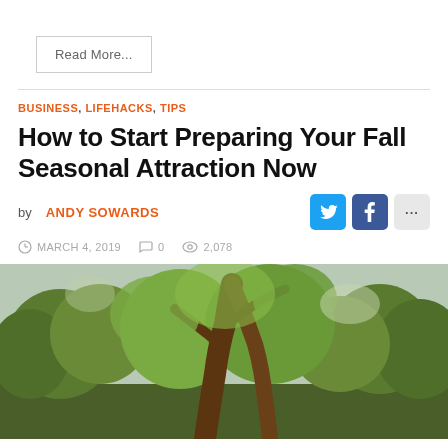Read More...
BUSINESS, LIFEHACKS, TIPS
How to Start Preparing Your Fall Seasonal Attraction Now
by ANDY SOWARDS
MARCH 4, 2019   0   2,078
[Figure (photo): Outdoor photo of trees with green foliage, large tree trunk in center, taken in a park or forest setting]